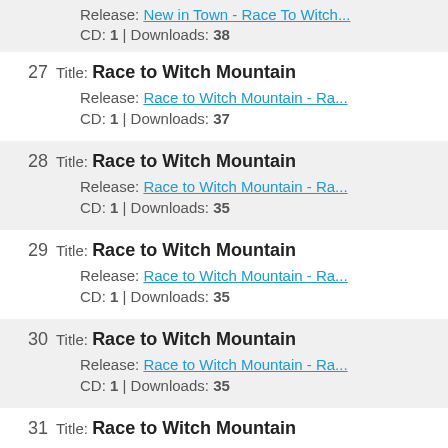Release: New in Town - Race To Witch... CD: 1 | Downloads: 38
27 Title: Race to Witch Mountain Release: Race to Witch Mountain - Ra... CD: 1 | Downloads: 37
28 Title: Race to Witch Mountain Release: Race to Witch Mountain - Ra... CD: 1 | Downloads: 35
29 Title: Race to Witch Mountain Release: Race to Witch Mountain - Ra... CD: 1 | Downloads: 35
30 Title: Race to Witch Mountain Release: Race to Witch Mountain - Ra... CD: 1 | Downloads: 35
31 Title: Race to Witch Mountain Release: Race to Witch Mountain - Ra... CD: 1 | Downloads: 31
32 Title: Race to Witch Mountain Release: Race to Witch Mountain - Ra... CD: 1 | Downloads: 31